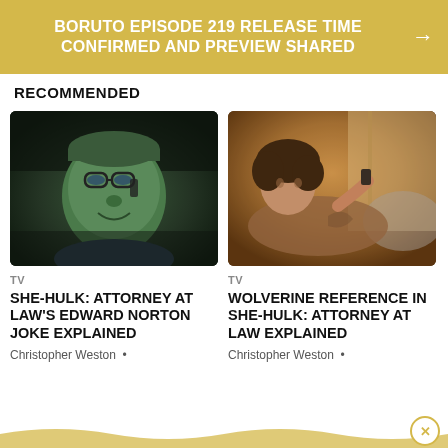BORUTO EPISODE 219 RELEASE TIME CONFIRMED AND PREVIEW SHARED
RECOMMENDED
[Figure (screenshot): Thumbnail image of a green-skinned Hulk character wearing glasses, talking on a phone, in a dark scene from She-Hulk: Attorney at Law]
SHE-HULK: ATTORNEY AT LAW'S EDWARD NORTON JOKE EXPLAINED
Christopher Weston •
[Figure (screenshot): Thumbnail image of a woman lying on a couch holding a phone, warm amber lighting, from Wolverine Reference in She-Hulk episode]
WOLVERINE REFERENCE IN SHE-HULK: ATTORNEY AT LAW EXPLAINED
Christopher Weston •